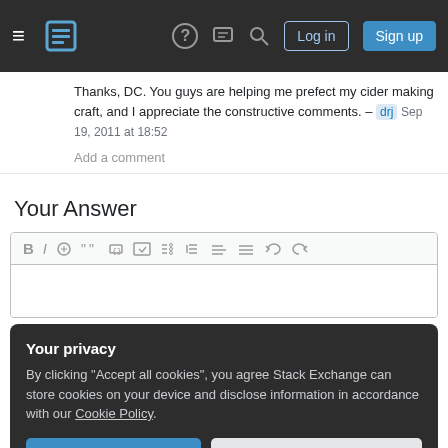Stack Exchange navigation bar with hamburger menu, logo, help, chat, search icons, Log in and Sign up buttons
Thanks, DC. You guys are helping me prefect my cider making craft, and I appreciate the constructive comments. – drj Sep 19, 2011 at 18:52
Add a comment
Your Answer
[Figure (screenshot): Text editor toolbar with formatting icons: Bold, Italic, Link, Quote, Code, Image, Ordered list, Unordered list, Align left, Align justify, Undo, Redo]
Your privacy
By clicking "Accept all cookies", you agree Stack Exchange can store cookies on your device and disclose information in accordance with our Cookie Policy.
Accept all cookies
Customize settings